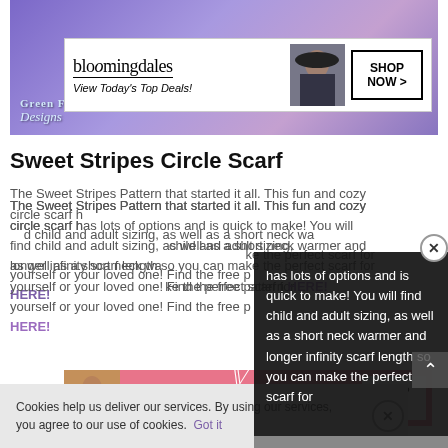[Figure (photo): Hero image showing a woman wearing a colorful pink/purple crocheted circle scarf with a Bloomingdales advertisement overlay and Green Fox Farms Designs logo]
[Figure (photo): Bloomingdales advertisement banner: logo, 'View Today's Top Deals!', model in hat, 'SHOP NOW >' button]
Sweet Stripes Circle Scarf
The Sweet Stripes Pattern that started it all. This fun and cozy circle scarf has lots of options and is quick to make! You will find child and adult sizing, as well as a short neck warmer and longer infinity scarf length so you can make the perfect scarf for yourself or your loved one! Find the free pattern HERE!
[Figure (screenshot): Dark popup overlay showing partial article text about child and adult sizing, with CLOSE button and scroll-up arrow]
[Figure (photo): Victoria's Secret advertisement: model, VS logo, 'SHOP THE COLLECTION', 'SHOP NOW' button on pink background]
Cookies help us deliver our services. By using our services, you agree to our use of cookies. Got it